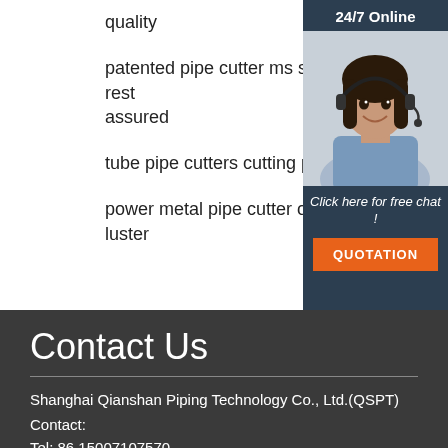quality
patented pipe cutter ms square making rest assured
tube pipe cutters cutting plasma dur
power metal pipe cutter orbital autom luster
[Figure (other): 24/7 Online chat widget with a woman wearing a headset, 'Click here for free chat!' text, and an orange QUOTATION button]
Contact Us
Shanghai Qianshan Piping Technology Co., Ltd.(QSPT)
Contact:
Tel: 86 15007107570